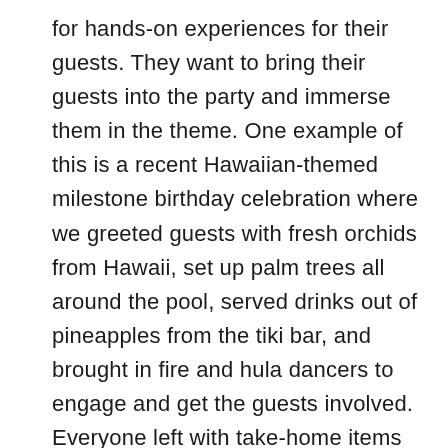for hands-on experiences for their guests. They want to bring their guests into the party and immerse them in the theme. One example of this is a recent Hawaiian-themed milestone birthday celebration where we greeted guests with fresh orchids from Hawaii, set up palm trees all around the pool, served drinks out of pineapples from the tiki bar, and brought in fire and hula dancers to engage and get the guests involved. Everyone left with take-home items from our souvenir shop, including Ray-Ban shades, personalized towels, flip flops, and sun hats. And we did it all in nine days!
I've also noticed a growing interest in